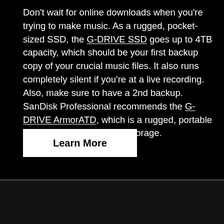Don't wait for online downloads when you're trying to make music. As a rugged, pocket-sized SSD, the G-DRIVE SSD goes up to 4TB capacity, which should be your first backup copy of your crucial music files. It also runs completely silent if you're at a live recording. Also, make sure to have a 2nd backup. SanDisk Professional recommends the G-DRIVE ArmorATD, which is a rugged, portable hard drive with up to 5TB storage.
Learn More